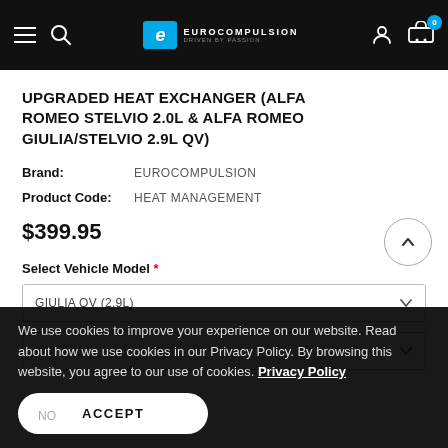Eurocompulsion - navigation header with hamburger menu, search, logo, user icon, cart (0)
UPGRADED HEAT EXCHANGER (ALFA ROMEO STELVIO 2.0L & ALFA ROMEO GIULIA/STELVIO 2.9L QV)
Brand: EUROCOMPULSION
Product Code: HEAT MANAGEMENT
$399.95
Select Vehicle Model *
GIULIA QV (2.9L)
Add Factory Coolant (1 GAL)
We use cookies to improve your experience on our website. Read about how we use cookies in our Privacy Policy. By browsing this website, you agree to our use of cookies. Privacy Policy
NO
ACCEPT